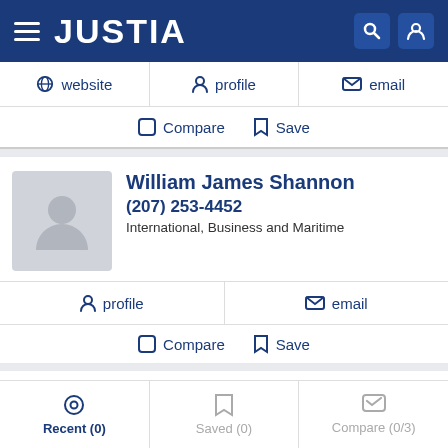JUSTIA
website  profile  email
Compare  Save
William James Shannon
(207) 253-4452
International, Business and Maritime
profile  email
Compare  Save
Adrian Kendall Esq
Recent (0)  Saved (0)  Compare (0/3)